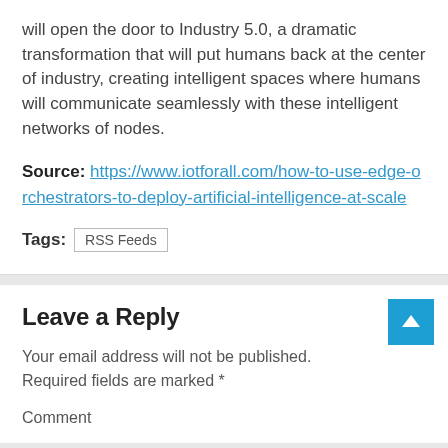will open the door to Industry 5.0, a dramatic transformation that will put humans back at the center of industry, creating intelligent spaces where humans will communicate seamlessly with these intelligent networks of nodes.
Source: https://www.iotforall.com/how-to-use-edge-orchestrators-to-deploy-artificial-intelligence-at-scale
Tags: RSS Feeds
Leave a Reply
Your email address will not be published. Required fields are marked *
Comment